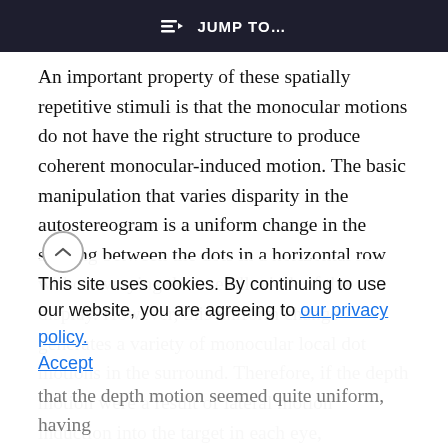≡▷ JUMP TO…
An important property of these spatially repetitive stimuli is that the monocular motions do not have the right structure to produce coherent monocular-induced motion. The basic manipulation that varies disparity in the autostereogram is a uniform change in the spacing between the dots in a horizontal row without varying the overall width of the display. However, this uniform change generates a variety of monocular local dot motions in the surround. Therefore, if the depth motion were a result of lateral motion induction into the target in each eye,
This site uses cookies. By continuing to use our website, you are agreeing to our privacy policy. Accept
that the depth motion seemed quite uniform, having